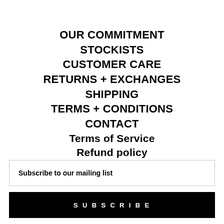OUR COMMITMENT
STOCKISTS
CUSTOMER CARE
RETURNS + EXCHANGES
SHIPPING
TERMS + CONDITIONS
CONTACT
Terms of Service
Refund policy
Subscribe to our mailing list
SUBSCRIBE